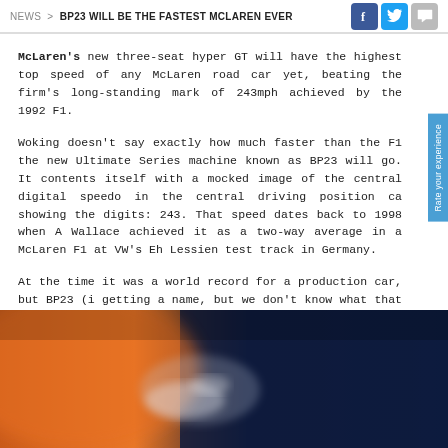NEWS > BP23 WILL BE THE FASTEST MCLAREN EVER
McLaren's new three-seat hyper GT will have the highest top speed of any McLaren road car yet, beating the firm's long-standing mark of 243mph achieved by the 1992 F1.
Woking doesn't say exactly how much faster than the F1 the new Ultimate Series machine known as BP23 will go. It contents itself with a mocked image of the central digital speedo in the central driving position ca showing the digits: 243. That speed dates back to 1998 when A Wallace achieved it as a two-way average in a McLaren F1 at VW's Eh Lessien test track in Germany.
At the time it was a world record for a production car, but BP23 (i getting a name, but we don't know what that is yet) is unlikely to follo its footsteps thanks to the looming 300mph battle between Koenigse Hennessey and Bugatti.
[Figure (photo): Blurred close-up photo of the McLaren BP23 car interior/exterior, showing orange and dark blue tones with a blurred speedo or wheel element in the foreground.]